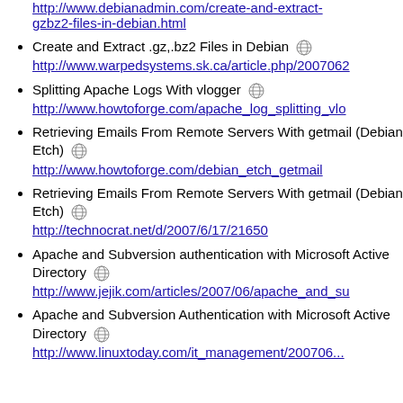http://www.debianadmin.com/create-and-extract-gzbz2-files-in-debian.html
Create and Extract .gz,.bz2 Files in Debian
http://www.warpedsystems.sk.ca/article.php/2007062...
Splitting Apache Logs With vlogger
http://www.howtoforge.com/apache_log_splitting_vlo...
Retrieving Emails From Remote Servers With getmail (Debian Etch)
http://www.howtoforge.com/debian_etch_getmail
Retrieving Emails From Remote Servers With getmail (Debian Etch)
http://technocrat.net/d/2007/6/17/21650
Apache and Subversion authentication with Microsoft Active Directory
http://www.jejik.com/articles/2007/06/apache_and_su...
Apache and Subversion Authentication with Microsoft Active Directory
http://www.linuxtoday.com/it_management/200706...